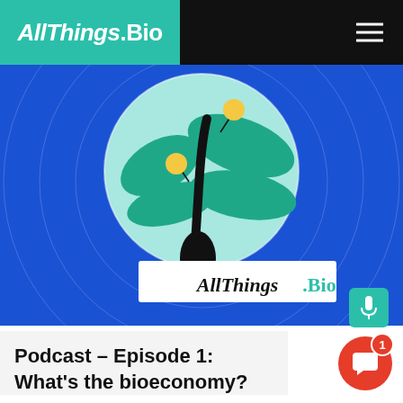AllThings.Bio
[Figure (illustration): AllThings.Bio podcast cover art showing a stylized green plant with yellow circular nodes on a light teal circle background, set against a royal blue background with concentric white circles. AllThings.Bio logo in a white badge at the bottom of the image.]
Podcast – Episode 1: What's the bioeconomy?